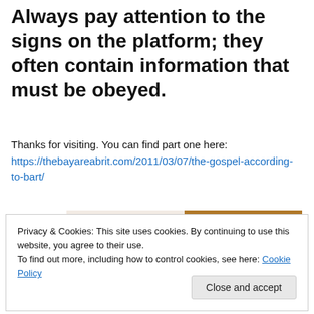Always pay attention to the signs on the platform; they often contain information that must be obeyed.
Thanks for visiting. You can find part one here: https://thebayareabrit.com/2011/03/07/the-gospel-according-to-bart/
[Figure (screenshot): Screenshot preview showing 'Let's get started' text on a beige/cream background with an image of hands holding a tablet on the right side]
Privacy & Cookies: This site uses cookies. By continuing to use this website, you agree to their use.
To find out more, including how to control cookies, see here: Cookie Policy
Close and accept